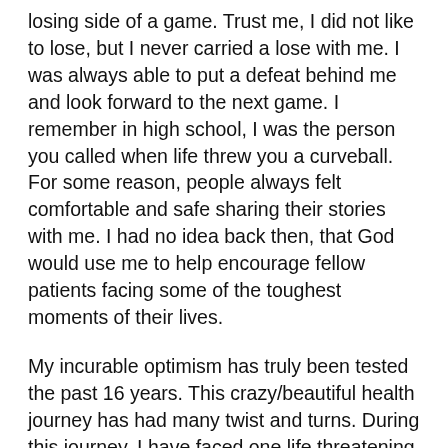losing side of a game. Trust me, I did not like to lose, but I never carried a lose with me. I was always able to put a defeat behind me and look forward to the next game. I remember in high school, I was the person you called when life threw you a curveball. For some reason, people always felt comfortable and safe sharing their stories with me. I had no idea back then, that God would use me to help encourage fellow patients facing some of the toughest moments of their lives.
My incurable optimism has truly been tested the past 16 years. This crazy/beautiful health journey has had many twist and turns. During this journey, I have faced one life threatening situation after another. This journey has not been an easy one. No one would fault me for being angry or, at least, a little grumpy. But that is just not in my makeup. I